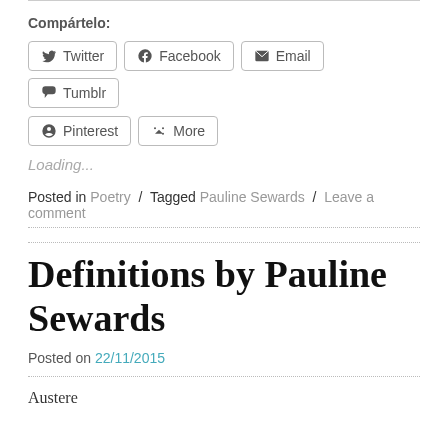Compártelo:
Twitter  Facebook  Email  Tumblr  Pinterest  More
Loading...
Posted in Poetry / Tagged Pauline Sewards / Leave a comment
Definitions by Pauline Sewards
Posted on 22/11/2015
Austere